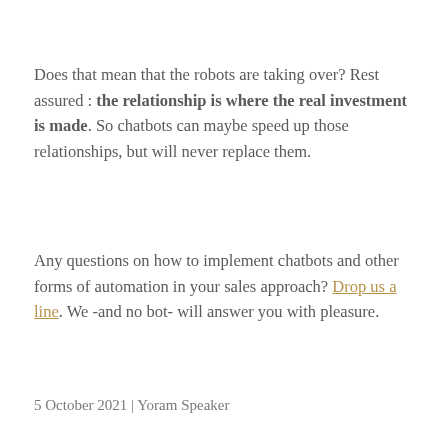Does that mean that the robots are taking over? Rest assured : the relationship is where the real investment is made. So chatbots can maybe speed up those relationships, but will never replace them.
Any questions on how to implement chatbots and other forms of automation in your sales approach? Drop us a line. We -and no bot- will answer you with pleasure.
5 October 2021 | Yoram Speaker